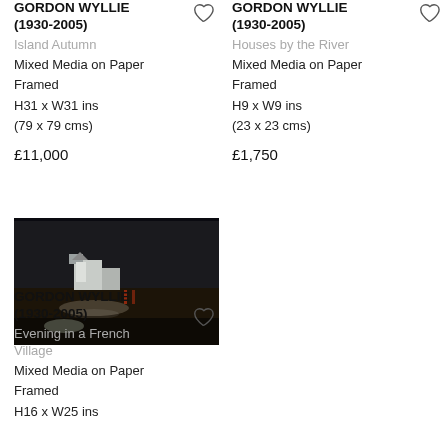GORDON WYLLIE (1930-2005)
Island Autumn
Mixed Media on Paper
Framed
H31 x W31 ins
(79 x 79 cms)
£11,000
GORDON WYLLIE (1930-2005)
Houses by the River
Mixed Media on Paper
Framed
H9 x W9 ins
(23 x 23 cms)
£1,750
[Figure (photo): Dark landscape painting showing white buildings/houses against a dark sky, mixed media on paper]
GORDON WYLLIE (1930-2005)
Evening in a French Village
Mixed Media on Paper
Framed
H16 x W25 ins